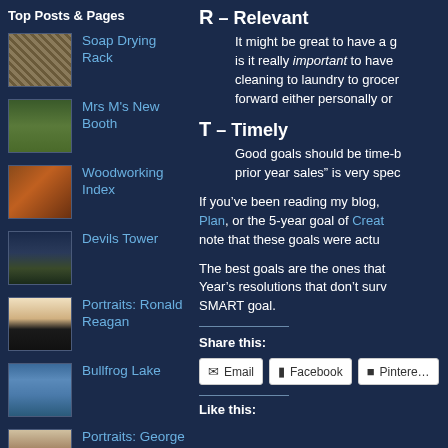R – Relevant
Top Posts & Pages
Soap Drying Rack
Mrs M's New Booth
Woodworking Index
Devils Tower
Portraits: Ronald Reagan
Bullfrog Lake
Portraits: George W Bush
1953: How To
It might be great to have a g is it really important to have cleaning to laundry to grocer forward either personally or
T – Timely
Good goals should be time-b prior year sales” is very spec
If you’ve been reading my blog, Plan, or the 5-year goal of Creat note that these goals were actu
The best goals are the ones that Year’s resolutions that don’t surv SMART goal.
Share this:
Email  Facebook  Pinterest
Like this: